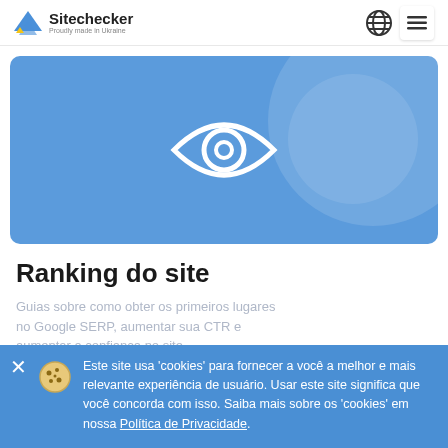Sitechecker – Proudly made in Ukraine
[Figure (illustration): Blue hero banner with a white eye/visibility icon in the center on a light blue background with circular decorative elements]
Ranking do site
Guias sobre como obter os primeiros lugares no Google SERP, aumentar sua CTR e aumentar a confiança no site.
Este site usa 'cookies' para fornecer a você a melhor e mais relevante experiência de usuário. Usar este site significa que você concorda com isso. Saiba mais sobre os 'cookies' em nossa Política de Privacidade.